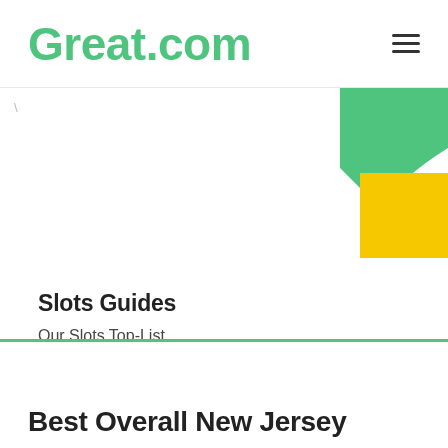Great.com
Slots Guides
Our Slots Top-List.
Best Overall New Jersey